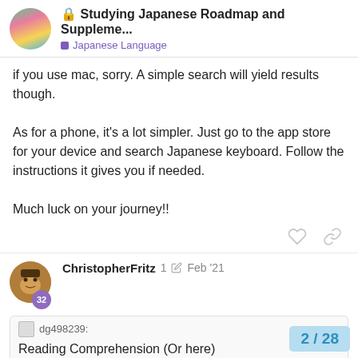Studying Japanese Roadmap and Suppleme... — Japanese Language
if you use mac, sorry. A simple search will yield results though.

As for a phone, it's a lot simpler. Just go to the app store for your device and search Japanese keyboard. Follow the instructions it gives you if needed.

Much luck on your journey!!
ChristopherFritz  1  Feb '21
dg498239:
Reading Comprehension (Or here)
Once you finish Genki I, and you're workin Genki II, be sure to check out the Absolute
2 / 28